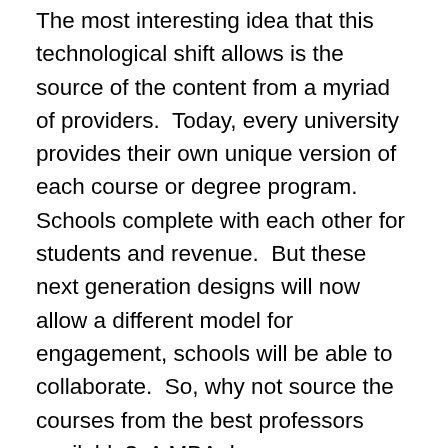The most interesting idea that this technological shift allows is the source of the content from a myriad of providers.  Today, every university provides their own unique version of each course or degree program.  Schools complete with each other for students and revenue.  But these next generation designs will now allow a different model for engagement, schools will be able to collaborate.  So, why not source the courses from the best professors available?  A MBA degree can now federate the courses for the greatest effect and value for the student.  For example, use MIT for the technology, Oxford for critical thinking, McGill for law, UCLA for communications, Stanford for cognitive, and Athabasca for the three or four foundational courses, like accounting and finance that must use Canadian content.  This model would be prized by the students